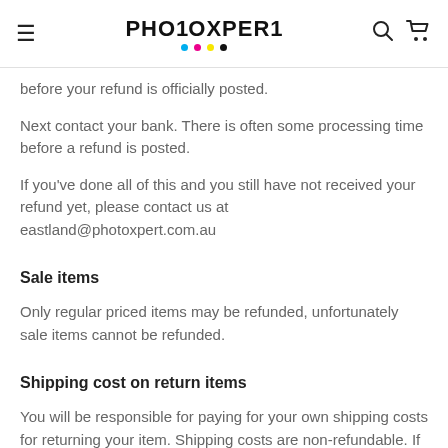PHOTOXPERT
before your refund is officially posted.
Next contact your bank. There is often some processing time before a refund is posted.
If you've done all of this and you still have not received your refund yet, please contact us at eastland@photoxpert.com.au
Sale items
Only regular priced items may be refunded, unfortunately sale items cannot be refunded.
Shipping cost on return items
You will be responsible for paying for your own shipping costs for returning your item. Shipping costs are non-refundable. If you receive a refund, the cost of return shipping will be deducted from